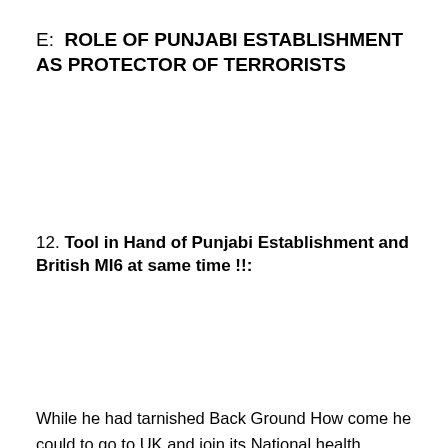E:  ROLE OF PUNJABI ESTABLISHMENT AS PROTECTOR OF TERRORISTS
12. Tool in Hand of Punjabi Establishment and British MI6 at same time !!:
While he had tarnished Back Ground How come he could to go to UK and join its National health Service belonging to British Government and become a Doctor there while